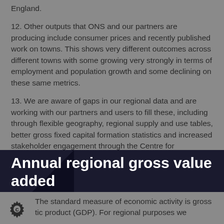England.
12. Other outputs that ONS and our partners are producing include consumer prices and recently published work on towns. This shows very different outcomes across different towns with some growing very strongly in terms of employment and population growth and some declining on these same metrics.
13. We are aware of gaps in our regional data and are working with our partners and users to fill these, including through flexible geography, regional supply and use tables, better gross fixed capital formation statistics and increased stakeholder engagement through the Centre for Subnational Analysis.
Measures of economic activity
Annual regional gross value added
The standard measure of economic activity is gross domestic product (GDP). For regional purposes we